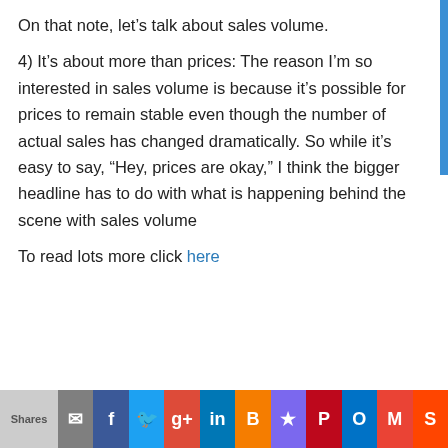On that note, let’s talk about sales volume.
4) It’s about more than prices: The reason I’m so interested in sales volume is because it’s possible for prices to remain stable even though the number of actual sales has changed dramatically. So while it’s easy to say, “Hey, prices are okay,” I think the bigger headline has to do with what is happening behind the scene with sales volume
To read lots more click here
Shares [email] [facebook] [twitter] [google+] [linkedin] [blogger] [star] [pinterest] [outlook] [gmail] [reddit]